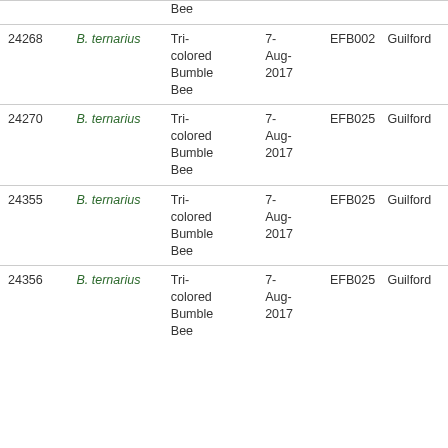| ID | Species | Common Name | Date | Collector | Location |
| --- | --- | --- | --- | --- | --- |
|  |  | Bee |  |  |  |
| 24268 | B. ternarius | Tri-colored Bumble Bee | 7-Aug-2017 | EFB002 | Guilford |
| 24270 | B. ternarius | Tri-colored Bumble Bee | 7-Aug-2017 | EFB025 | Guilford |
| 24355 | B. ternarius | Tri-colored Bumble Bee | 7-Aug-2017 | EFB025 | Guilford |
| 24356 | B. ternarius | Tri-colored Bumble Bee | 7-Aug-2017 | EFB025 | Guilford |